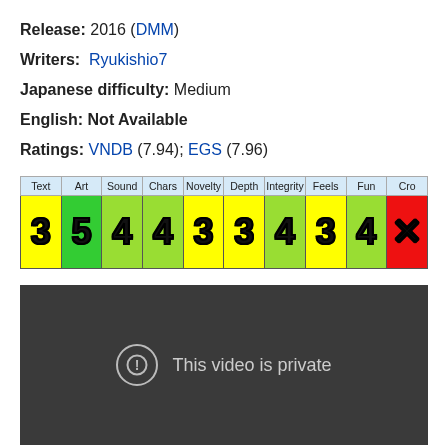Release: 2016 (DMM)
Writers: Ryukishio7
Japanese difficulty: Medium
English: Not Available
Ratings: VNDB (7.94); EGS (7.96)
| Text | Art | Sound | Chars | Novelty | Depth | Integrity | Feels | Fun | Cro |
| --- | --- | --- | --- | --- | --- | --- | --- | --- | --- |
| 3 | 5 | 4 | 4 | 3 | 3 | 4 | 3 | 4 | X |
[Figure (screenshot): Dark video player showing 'This video is private' message with a warning icon circle]